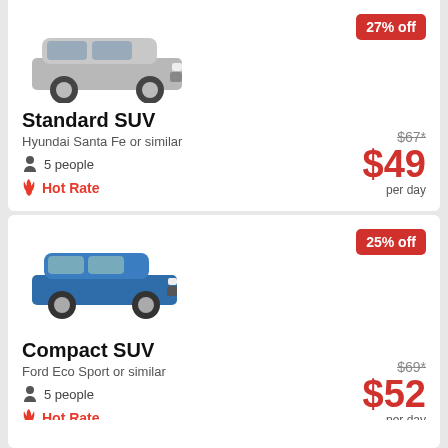[Figure (photo): Silver Hyundai Santa Fe SUV car image]
Standard SUV
Hyundai Santa Fe or similar
5 people
Hot Rate
27% off
$67*
$49
per day
[Figure (photo): Blue Ford Eco Sport compact SUV car image]
Compact SUV
Ford Eco Sport or similar
5 people
Hot Rate
25% off
$69*
$52
per day